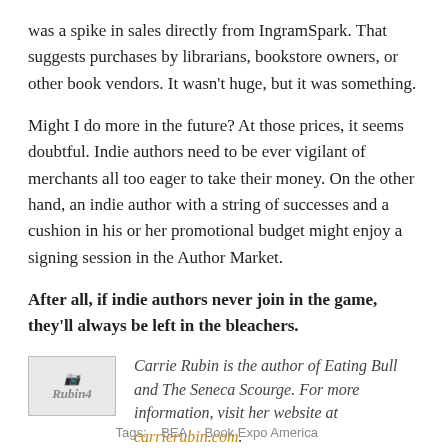was a spike in sales directly from IngramSpark. That suggests purchases by librarians, bookstore owners, or other book vendors. It wasn't huge, but it was something.
Might I do more in the future? At those prices, it seems doubtful. Indie authors need to be ever vigilant of merchants all too eager to take their money. On the other hand, an indie author with a string of successes and a cushion in his or her promotional budget might enjoy a signing session in the Author Market.
After all, if indie authors never join in the game, they'll always be left in the bleachers.
[Figure (photo): Small thumbnail photo labeled Rubin4]
Carrie Rubin is the author of Eating Bull and The Seneca Scourge. For more information, visit her website at carrierubin.com.
Tags: ...  BEA ...  Book Expo America ...